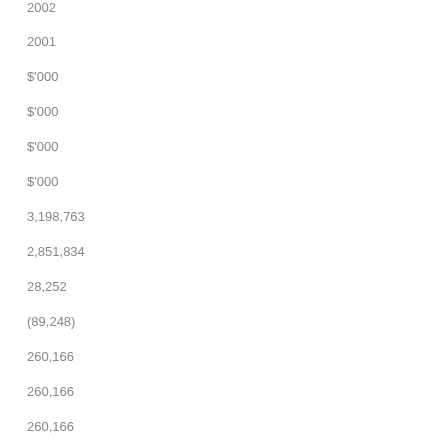2002
2001
$'000
$'000
$'000
$'000
3,198,763
2,851,834
28,252
(89,248)
260,166
260,166
260,166